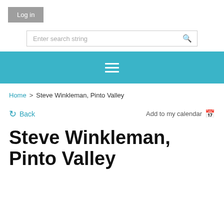Log in
Enter search string
[Figure (other): Teal navigation bar with hamburger menu icon (three horizontal white lines)]
Home > Steve Winkleman, Pinto Valley
Back   Add to my calendar
Steve Winkleman, Pinto Valley